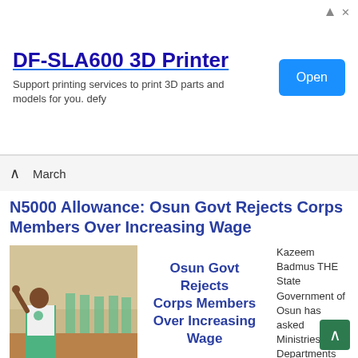[Figure (screenshot): Advertisement banner for DF-SLA600 3D Printer with Open button]
DF-SLA600 3D Printer
Support printing services to print 3D parts and models for you. defy
March
N5000 Allowance: Osun Govt Rejects Corps Members Over Increasing Wage
[Figure (photo): Photo of NYSC corps members marching in uniform, lead person raising hand]
Osun Govt Rejects Corps Members Over Increasing Wage
Kazeem Badmus THE State Government of Osun has asked Ministries, Departments and Agencies to stop receiving members of the National Youths Service Corps (NYSC). According to a circular issued from the office of the Head of Service and signed by S. A. Aina, corps members are to be posted to ...
Read More »